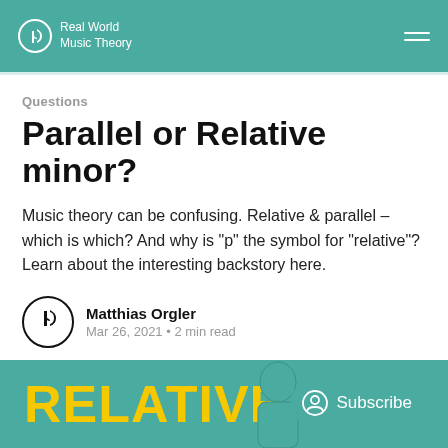Real World Music Theory
Questions
Parallel or Relative minor?
Music theory can be confusing. Relative & parallel – which is which? And why is "p" the symbol for "relative"? Learn about the interesting backstory here.
Matthias Orgler
Mar 26, 2021 • 2 min read
[Figure (illustration): Banner image showing the text RELATIVE in large yellow bold letters on a teal background, with a partial silhouette of a person's head visible on the right side.]